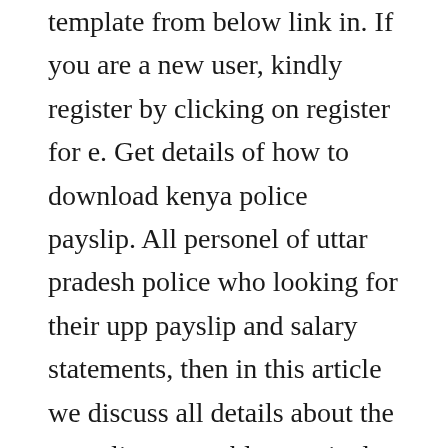template from below link in. If you are a new user, kindly register by clicking on register for e. Get details of how to download kenya police payslip. All personel of uttar pradesh police who looking for their upp payslip and salary statements, then in this article we discuss all details about the up police constable, nominal roll, biodata, and upp con payslip related all. Being aware of your duty for providing pay slips to employees is an equally important job just like other.
Ghris payslip online portal, login, download, registration. The government human resource